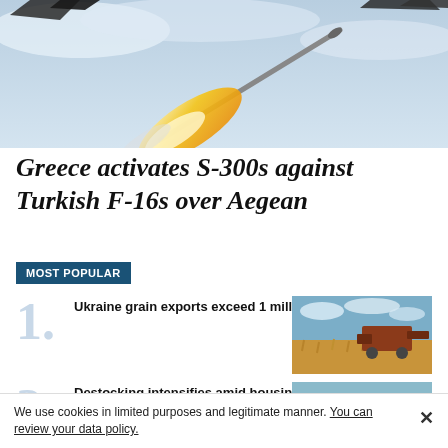[Figure (photo): Military missile or rocket in flight against a light blue sky background, with a bright flame trail. Dark angular aircraft parts visible at top.]
Greece activates S-300s against Turkish F-16s over Aegean
MOST POPULAR
Ukraine grain exports exceed 1 million tons: Türkiye
[Figure (photo): Aerial view of wheat field being harvested by a combine harvester under a cloudy sky.]
Destocking intensifies amid housing balloon fears
[Figure (photo): Aerial view of a city skyline with buildings and urban landscape.]
We use cookies in limited purposes and legitimate manner. You can review your data policy.